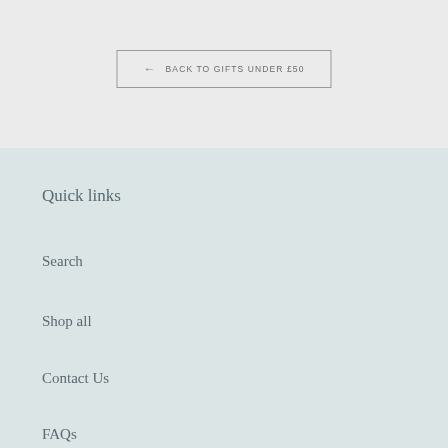← BACK TO GIFTS UNDER £50
Quick links
Search
Shop all
Contact Us
FAQs
Wholesale